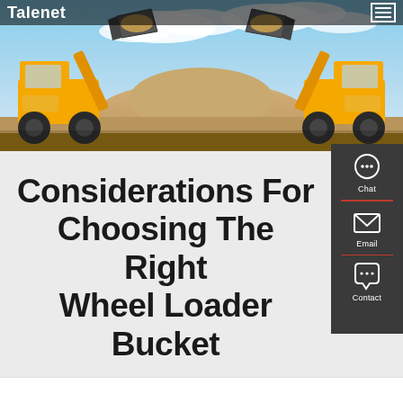Talenet
[Figure (photo): Two yellow wheel loaders facing each other with raised buckets full of dirt/sand, against a blue sky with clouds. Construction/earthmoving machinery on a job site.]
Considerations For Choosing The Right Wheel Loader Bucket